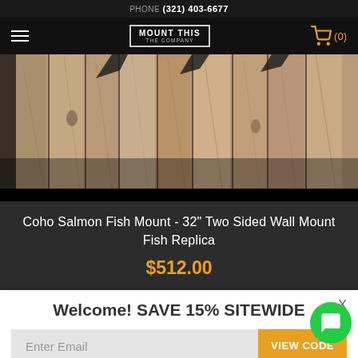PHONE (321) 403-6677
[Figure (logo): Mount This The Company logo in nav bar with hamburger menu and shopping cart icon showing (0) items]
[Figure (photo): Wooden plank wall texture background used as product display backdrop]
Coho Salmon Fish Mount - 32" Two Sided Wall Mount Fish Replica
$512.00
Welcome! SAVE 15% SITEWIDE
Enter Email
VIEW CODE